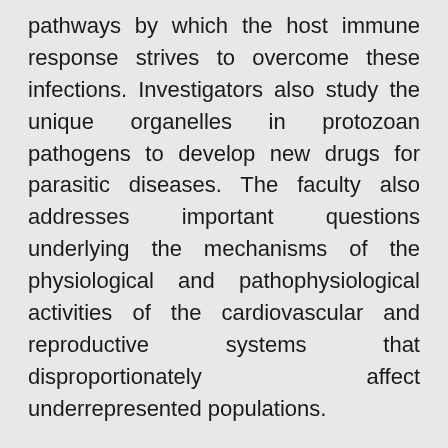pathways by which the host immune response strives to overcome these infections. Investigators also study the unique organelles in protozoan pathogens to develop new drugs for parasitic diseases. The faculty also addresses important questions underlying the mechanisms of the physiological and pathophysiological activities of the cardiovascular and reproductive systems that disproportionately affect underrepresented populations.
As a result, members of the department and their teams have discovered novel mechanisms of pathogenesis for HIV, protozoan pathogens, innate immunity to intracellular pathogens, and elucidated protozoa-cell interphase leading to infection. The faculty also discovered new host factors that play critical roles in the infection of intracellular